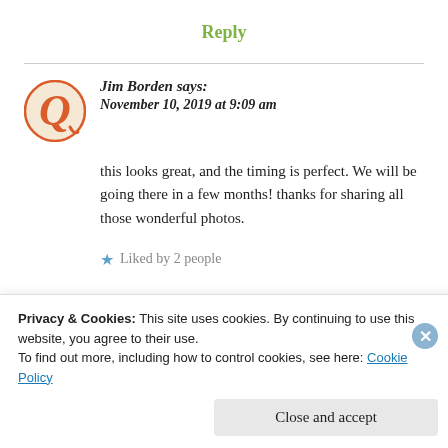Reply
Jim Borden says: November 10, 2019 at 9:09 am
this looks great, and the timing is perfect. We will be going there in a few months! thanks for sharing all those wonderful photos.
Liked by 2 people
Privacy & Cookies: This site uses cookies. By continuing to use this website, you agree to their use.
To find out more, including how to control cookies, see here: Cookie Policy